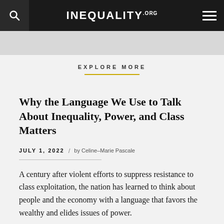INEQUALITY.ORG
EXPLORE MORE
Why the Language We Use to Talk About Inequality, Power, and Class Matters
JULY 1, 2022  /  by Celine-Marie Pascale
A century after violent efforts to suppress resistance to class exploitation, the nation has learned to think about people and the economy with a language that favors the wealthy and elides issues of power.